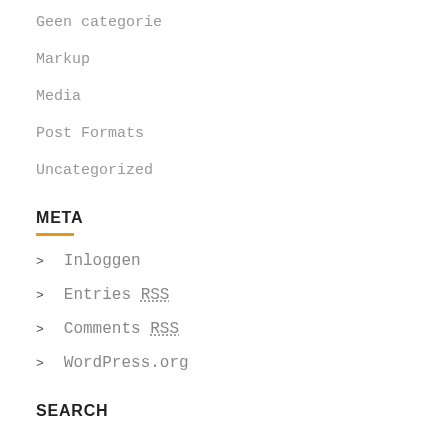Geen categorie
Markup
Media
Post Formats
Uncategorized
META
> Inloggen
> Entries RSS
> Comments RSS
> WordPress.org
SEARCH